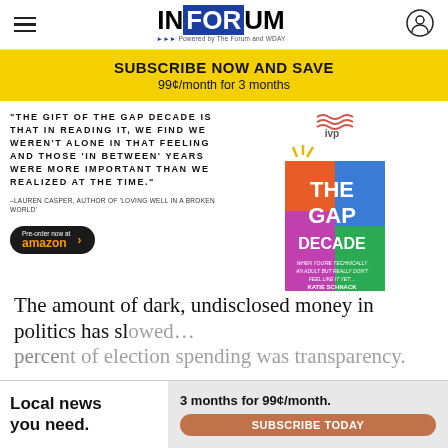INFORUM – Powered by The Forum and WDAY
[Figure (infographic): Yellow subscription banner: SUBSCRIBE NOW AND SAVE, 99¢/month for 3 months]
[Figure (infographic): Book advertisement for The Gap Decade by Katie Schnack with quote from Lauren Casper and Amazon pre-order button]
The amount of dark, undisclosed money in politics has sl... percent of election spending was transparency.
[Figure (infographic): Bottom ad: Local news you need. 3 months for 99¢/month. SUBSCRIBE TODAY]